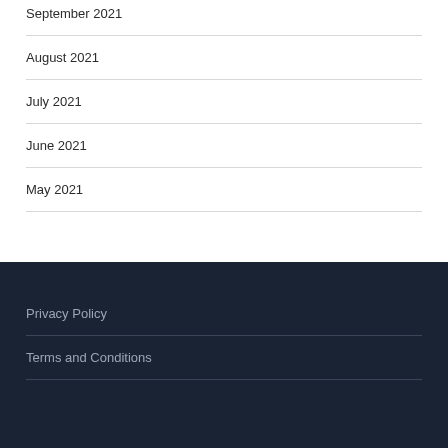September 2021
August 2021
July 2021
June 2021
May 2021
Privacy Policy
Terms and Conditions